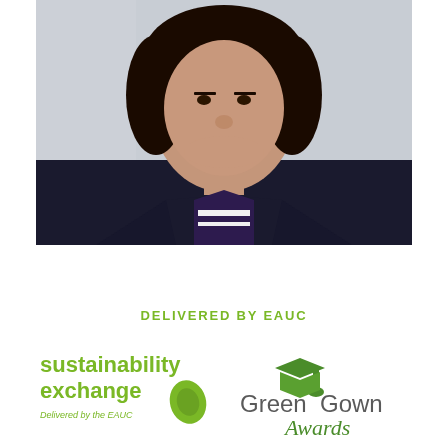[Figure (photo): Portrait photo of a woman with dark hair wearing a dark blazer over a dark patterned top, photographed against a light grey/white background]
DELIVERED BY EAUC
[Figure (logo): Sustainability Exchange logo - text reads 'sustainability exchange' in green with 'Delivered by the EAUC' and a green leaf droplet icon]
[Figure (logo): Green Gown Awards logo - green graduation cap icon with 'Green Gown Awards' text in dark grey and green]